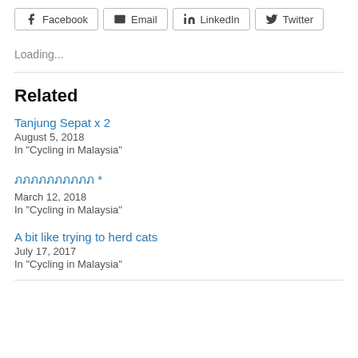Facebook | Email | LinkedIn | Twitter
Loading...
Related
Tanjung Sepat x 2
August 5, 2018
In "Cycling in Malaysia"
ภภภภภภภภภภ *
March 12, 2018
In "Cycling in Malaysia"
A bit like trying to herd cats
July 17, 2017
In "Cycling in Malaysia"